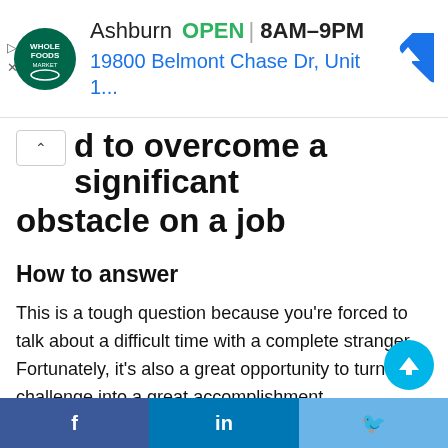[Figure (screenshot): Whole Foods Market advertisement banner showing Ashburn location, OPEN 8AM-9PM, address 19800 Belmont Chase Dr, Unit 1..., with navigation arrow icon]
d to overcome a significant obstacle on a job
How to answer
This is a tough question because you’re forced to talk about a difficult time with a complete stranger. Fortunately, it’s also a great opportunity to turn a big challenge into a great accomplishment.
This question is designed to help the interviewer discover what to of challenge...